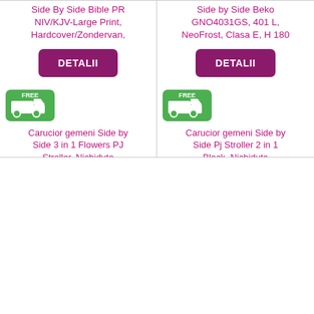Side By Side Bible PR NIV/KJV-Large Print, Hardcover/Zondervan,
DETALII
[Figure (infographic): Green free shipping badge with truck icon]
Carucior gemeni Side by Side 3 in 1 Flowers PJ Stroller, Nichiduta
Side by Side Beko GNO4031GS, 401 L, NeoFrost, Clasa E, H 180
DETALII
[Figure (infographic): Green free shipping badge with truck icon]
Carucior gemeni Side by Side Pj Stroller 2 in 1 Black, Nichiduta